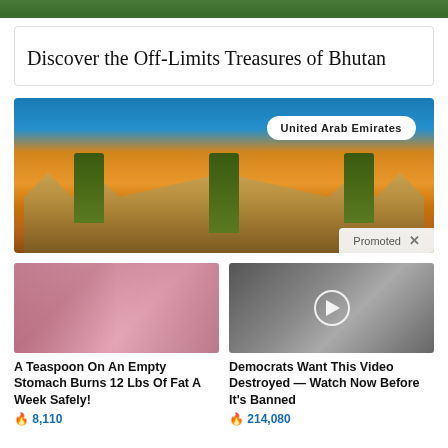[Figure (photo): Green foliage strip at top of page]
Discover the Off-Limits Treasures of Bhutan
[Figure (photo): United Arab Emirates promotional image showing desert sand dunes, palm trees, and traditional Arabic fort/castle architecture with a 'United Arab Emirates' badge and 'Promoted X' label]
[Figure (photo): Two women in pink clothing sitting casually]
A Teaspoon On An Empty Stomach Burns 12 Lbs Of Fat A Week Safely!
🔥 8,110
[Figure (photo): Video thumbnail showing Melania Trump and Donald Trump with a play button overlay]
Democrats Want This Video Destroyed — Watch Now Before It's Banned
🔥 214,080